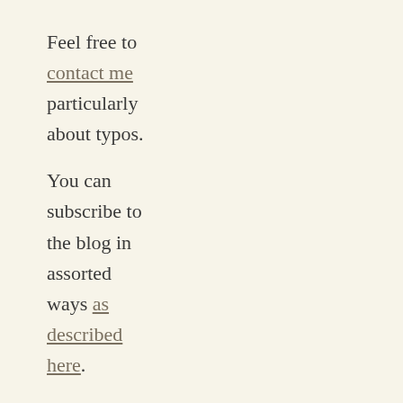Feel free to contact me particularly about typos.
You can subscribe to the blog in assorted ways as described here.
If you are curious about who I am read this.